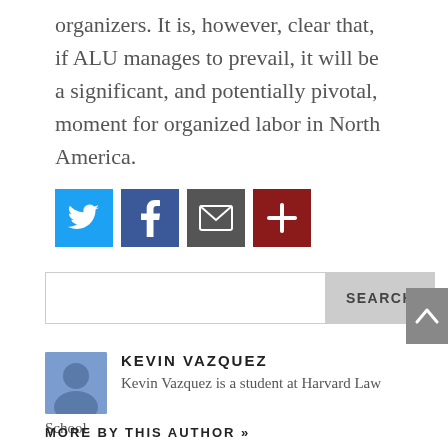organizers. It is, however, clear that, if ALU manages to prevail, it will be a significant, and potentially pivotal, moment for organized labor in North America.
[Figure (infographic): Social share icon buttons: Twitter (blue bird icon), Facebook (blue f icon), Email (gray envelope icon), More (dark red plus icon)]
SEARCH (search bar with button)
KEVIN VAZQUEZ
Kevin Vazquez is a student at Harvard Law School.
MORE BY THIS AUTHOR »